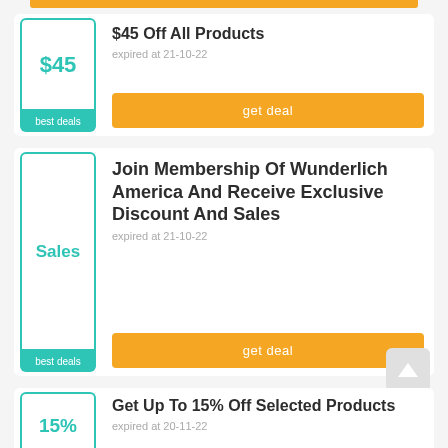$45 Off All Products
expired at 21-10-22
get deal
Join Membership Of Wunderlich America And Receive Exclusive Discount And Sales
expired at 21-10-22
get deal
Get Up To 15% Off Selected Products
expired at 20-11-22